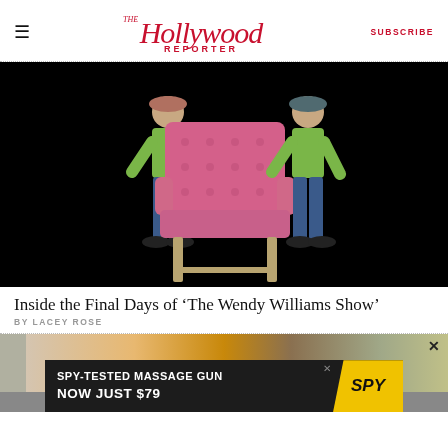The Hollywood Reporter — SUBSCRIBE
[Figure (photo): Two men in green shirts and jeans carrying a pink tufted armchair against a black background]
Inside the Final Days of ‘The Wendy Williams Show’
BY LACEY ROSE
[Figure (photo): Partial view of second article image and advertisement banner reading SPY-TESTED MASSAGE GUN NOW JUST $79 with SPY logo]